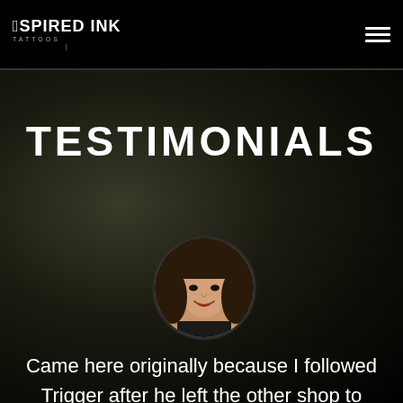Aspired Ink Tattoos
TESTIMONIALS
[Figure (photo): Circular portrait photo of a young woman with long dark hair, smiling, wearing a dark top]
Came here originally because I followed Trigger after he left the other shop to have him touch up work he did. Since then, I've